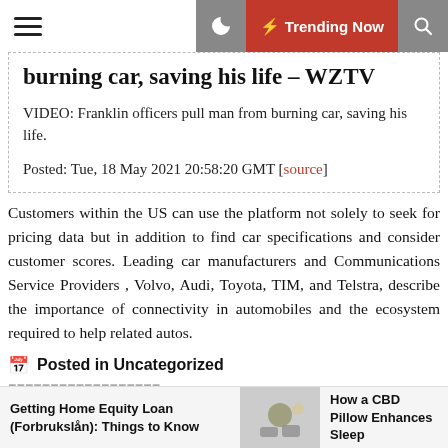☰  🌙  ⚡ Trending Now  🔍
burning car, saving his life – WZTV
VIDEO: Franklin officers pull man from burning car, saving his life.
Posted: Tue, 18 May 2021 20:58:20 GMT [source]
Customers within the US can use the platform not solely to seek for pricing data but in addition to find car specifications and consider customer scores. Leading car manufacturers and Communications Service Providers , Volvo, Audi, Toyota, TIM, and Telstra, describe the importance of connectivity in automobiles and the ecosystem required to help related autos.
Posted in Uncategorized
Getting Home Equity Loan (Forbrukslån): Things to Know
How a CBD Pillow Enhances Sleep